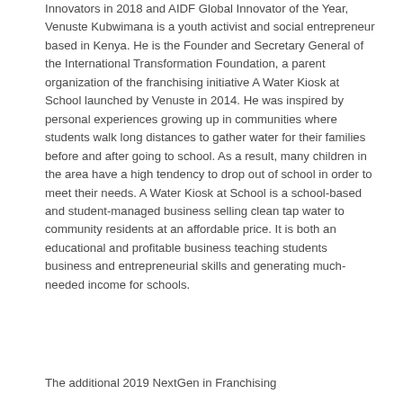Innovators in 2018 and AIDF Global Innovator of the Year, Venuste Kubwimana is a youth activist and social entrepreneur based in Kenya. He is the Founder and Secretary General of the International Transformation Foundation, a parent organization of the franchising initiative A Water Kiosk at School launched by Venuste in 2014. He was inspired by personal experiences growing up in communities where students walk long distances to gather water for their families before and after going to school. As a result, many children in the area have a high tendency to drop out of school in order to meet their needs. A Water Kiosk at School is a school-based and student-managed business selling clean tap water to community residents at an affordable price. It is both an educational and profitable business teaching students business and entrepreneurial skills and generating much-needed income for schools.
The additional 2019 NextGen in Franchising